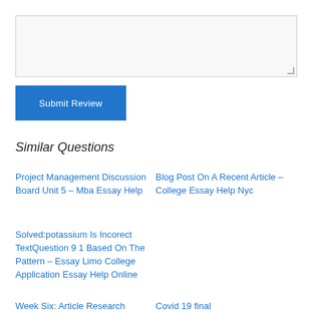[Figure (screenshot): A textarea input box with light gray background and a border, for writing a review.]
Submit Review
Similar Questions
Project Management Discussion Board Unit 5 – Mba Essay Help
Blog Post On A Recent Article – College Essay Help Nyc
Solved:potassium Is Incorect TextQuestion 9 1 Based On The Pattern – Essay Limo College Application Essay Help Online
Week Six: Article Research
Covid 19 final